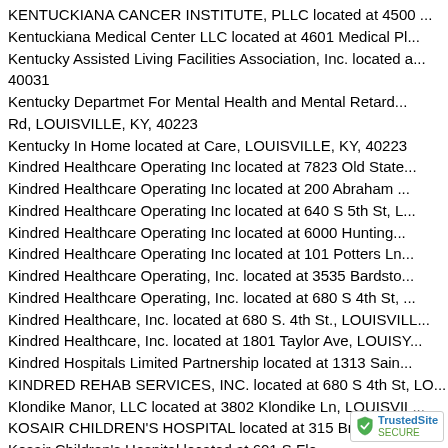KENTUCKIANA CANCER INSTITUTE, PLLC located at 4500 ...
Kentuckiana Medical Center LLC located at 4601 Medical Pl...
Kentucky Assisted Living Facilities Association, Inc. located at ... 40031
Kentucky Departmet For Mental Health and Mental Retard... Rd, LOUISVILLE, KY, 40223
Kentucky In Home located at Care, LOUISVILLE, KY, 40223
Kindred Healthcare Operating Inc located at 7823 Old State...
Kindred Healthcare Operating Inc located at 200 Abraham ...
Kindred Healthcare Operating Inc located at 640 S 5th St, L...
Kindred Healthcare Operating Inc located at 6000 Hunting...
Kindred Healthcare Operating Inc located at 101 Potters Ln...
Kindred Healthcare Operating, Inc. located at 3535 Bardsto...
Kindred Healthcare Operating, Inc. located at 680 S 4th St, ...
Kindred Healthcare, Inc. located at 680 S. 4th St., LOUISVILL...
Kindred Healthcare, Inc. located at 1801 Taylor Ave, LOUISY...
Kindred Hospitals Limited Partnership located at 1313 Sain...
KINDRED REHAB SERVICES, INC. located at 680 S 4th St, LO...
Klondike Manor, LLC located at 3802 Klondike Ln, LOUISVIL...
KOSAIR CHILDREN'S HOSPITAL located at 315 Broadway, ...
Kosair Children's Hospital located at 601 S Flo...